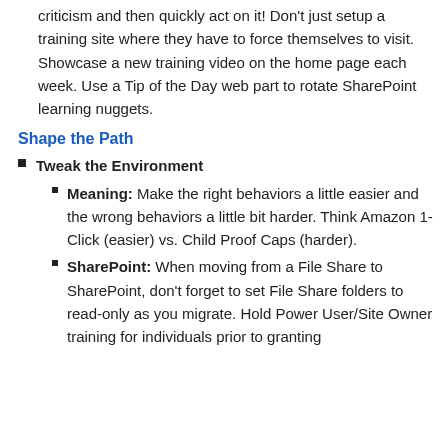criticism and then quickly act on it! Don't just setup a training site where they have to force themselves to visit. Showcase a new training video on the home page each week. Use a Tip of the Day web part to rotate SharePoint learning nuggets.
Shape the Path
Tweak the Environment
Meaning: Make the right behaviors a little easier and the wrong behaviors a little bit harder. Think Amazon 1-Click (easier) vs. Child Proof Caps (harder).
SharePoint: When moving from a File Share to SharePoint, don't forget to set File Share folders to read-only as you migrate. Hold Power User/Site Owner training for individuals prior to granting